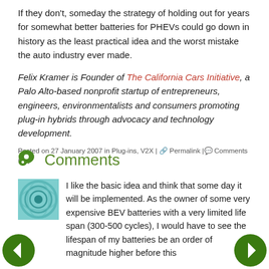If they don't, someday the strategy of holding out for years for somewhat better batteries for PHEVs could go down in history as the least practical idea and the worst mistake the auto industry ever made.
Felix Kramer is Founder of The California Cars Initiative, a Palo Alto-based nonprofit startup of entrepreneurs, engineers, environmentalists and consumers promoting plug-in hybrids through advocacy and technology development.
Posted on 27 January 2007 in Plug-ins, V2X | 🔗 Permalink | 💬 Comments (43)
Comments
[Figure (photo): User avatar: teal/blue circular wave pattern image]
I like the basic idea and think that some day it will be implemented. As the owner of some very expensive BEV batteries with a very limited life span (300-500 cycles), I would have to see the lifespan of my batteries be an order of magnitude higher before this